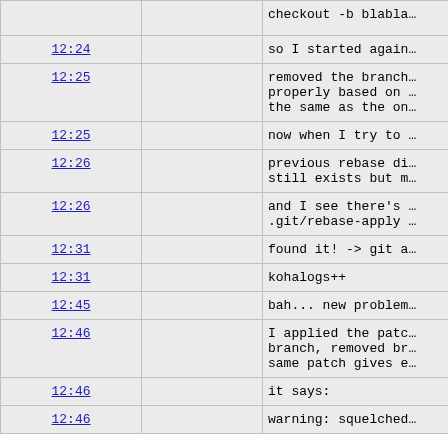| time | user | message |
| --- | --- | --- |
| checkout -b blabla… |  | checkout -b blabla… |
| 12:24 |  | so I started again… |
| 12:25 |  | removed the branch… properly based on… the same as the on… |
| 12:25 |  | now when I try to… |
| 12:26 |  | previous rebase di… still exists but m… |
| 12:26 |  | and I see there's … .git/rebase-apply … |
| 12:31 |  | found it! -> git a… |
| 12:31 |  | kohalogs++ |
| 12:45 |  | bah... new problem… |
| 12:46 |  | I applied the patc… branch, removed br… same patch gives e… |
| 12:46 |  | it says: |
| 12:46 |  | warning: squelched… |